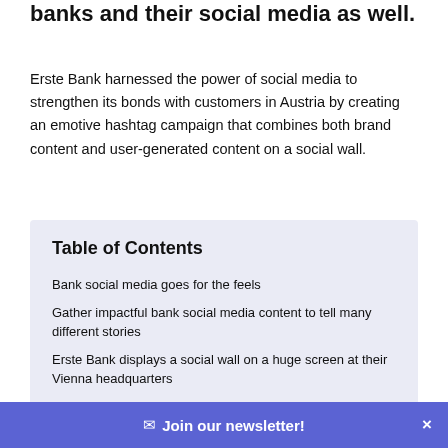banks and their social media as well.
Erste Bank harnessed the power of social media to strengthen its bonds with customers in Austria by creating an emotive hashtag campaign that combines both brand content and user-generated content on a social wall.
Table of Contents
Bank social media goes for the feels
Gather impactful bank social media content to tell many different stories
Erste Bank displays a social wall on a huge screen at their Vienna headquarters
Adapt your social wall design to your brand CI
✉ Join our newsletter!